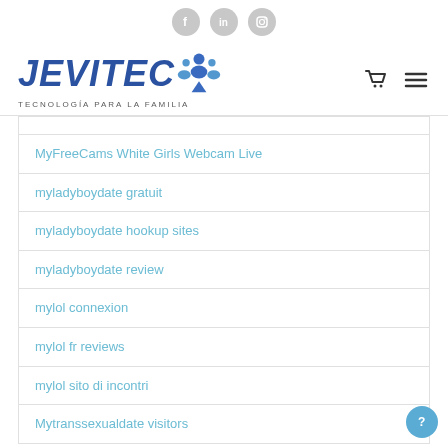JEVITEC - TECNOLOGÍA PARA LA FAMILIA
MyFreeCams White Girls Webcam Live
myladyboydate gratuit
myladyboydate hookup sites
myladyboydate review
mylol connexion
mylol fr reviews
mylol sito di incontri
Mytranssexualdate visitors